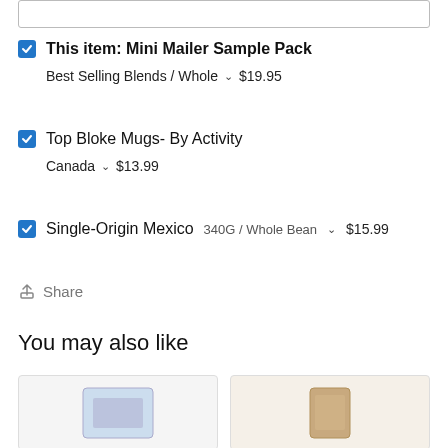This item: Mini Mailer Sample Pack — Best Selling Blends / Whole ▾ $19.95
Top Bloke Mugs- By Activity — Canada ▾ $13.99
Single-Origin Mexico 340G / Whole Bean ▾ $15.99
Share
You may also like
[Figure (photo): Two product cards showing coffee bag products, partially visible at bottom of page]